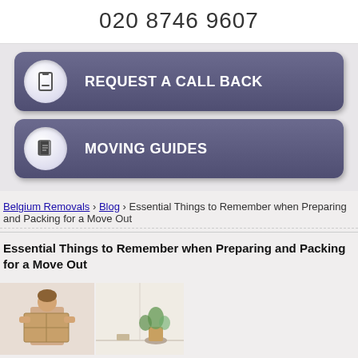020 8746 9607
REQUEST A CALL BACK
MOVING GUIDES
Belgium Removals › Blog › Essential Things to Remember when Preparing and Packing for a Move Out
Essential Things to Remember when Preparing and Packing for a Move Out
[Figure (photo): Woman carrying cardboard moving boxes]